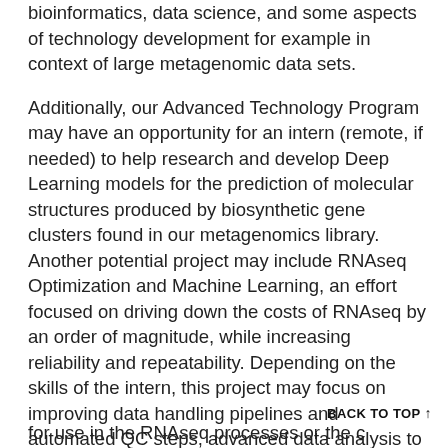bioinformatics, data science, and some aspects of technology development for example in context of large metagenomic data sets.
Additionally, our Advanced Technology Program may have an opportunity for an intern (remote, if needed) to help research and develop Deep Learning models for the prediction of molecular structures produced by biosynthetic gene clusters found in our metagenomics library. Another potential project may include RNAseq Optimization and Machine Learning, an effort focused on driving down the costs of RNAseq by an order of magnitude, while increasing reliability and repeatability. Depending on the skills of the intern, this project may focus on improving data handling pipelines and automated QC steps, advanced data analysis to enable efficient use of smaller samples, creation of soft
BACK TO TOP ↑
for use in the RNAseq processes or the c...